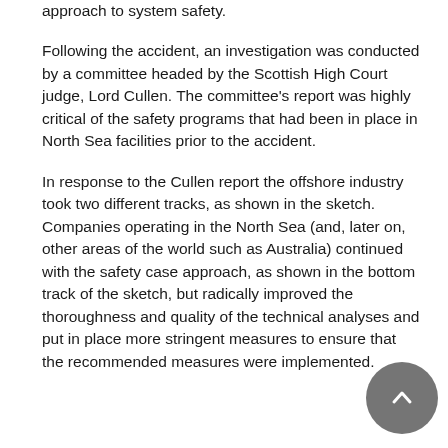approach to system safety.
Following the accident, an investigation was conducted by a committee headed by the Scottish High Court judge, Lord Cullen. The committee's report was highly critical of the safety programs that had been in place in North Sea facilities prior to the accident.
In response to the Cullen report the offshore industry took two different tracks, as shown in the sketch. Companies operating in the North Sea (and, later on, other areas of the world such as Australia) continued with the safety case approach, as shown in the bottom track of the sketch, but radically improved the thoroughness and quality of the technical analyses and put in place more stringent measures to ensure that the recommended measures were implemented.